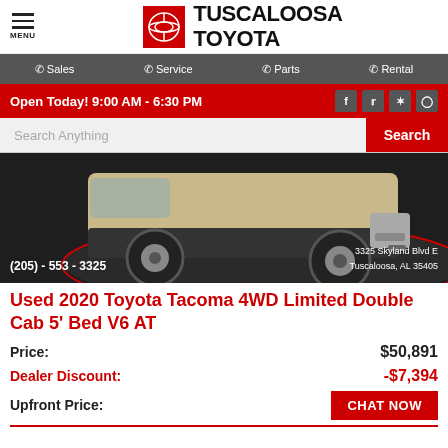TUSCALOOSA TOYOTA
Sales | Service | Parts | Rental
Open Today! 9:00 AM - 6:30 PM
[Figure (photo): Rear view of a gold/tan Toyota Tacoma 4WD on a dark showroom floor. Phone: (205) - 553 - 3325. Address: 3325 Skyland Blvd E, Tuscaloosa, AL 35405]
Used 2020 Toyota Tacoma 4WD Limited Double Cab 5' Bed V6 AT
Price: $50,891
Dealer Discount: -$7,394
Upfront Price: CHAT NOW